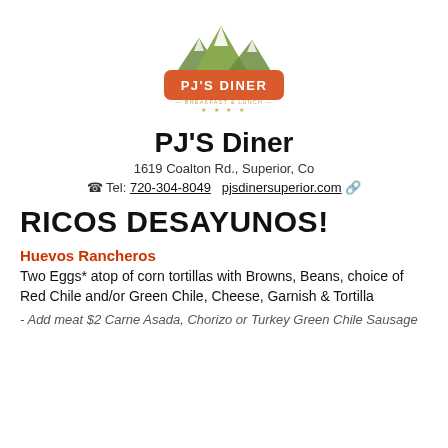[Figure (logo): PJ's Diner logo with mountain silhouette above an orange rounded rectangle badge with white text 'PJ'S DINER', and subtitle 'BREAKFAST & LUNCH' with stars below]
PJ'S Diner
1619 Coalton Rd., Superior, Co
Tel: 720-304-8049   pjsdinersuperior.com
RICOS DESAYUNOS!
Huevos Rancheros
Two Eggs* atop of corn tortillas with Browns, Beans, choice of Red Chile and/or Green Chile, Cheese, Garnish & Tortilla
- Add meat $2 Carne Asada, Chorizo or Turkey Green Chile Sausage